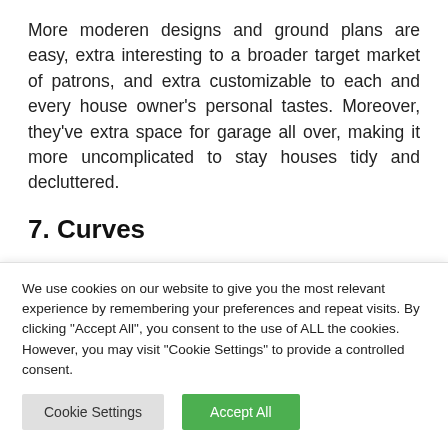More moderen designs and ground plans are easy, extra interesting to a broader target market of patrons, and extra customizable to each and every house owner's personal tastes. Moreover, they've extra space for garage all over, making it more uncomplicated to stay houses tidy and decluttered.
7. Curves
When carried out successfully, curves give a space individuality and a sense of warmth and elegance. This
We use cookies on our website to give you the most relevant experience by remembering your preferences and repeat visits. By clicking "Accept All", you consent to the use of ALL the cookies. However, you may visit "Cookie Settings" to provide a controlled consent.